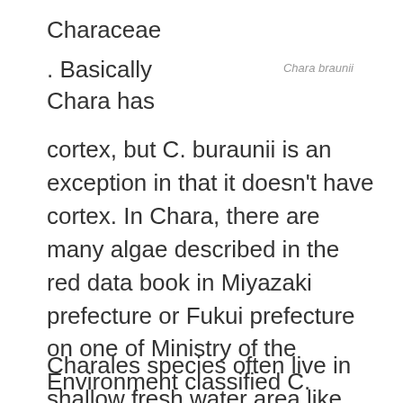Characeae
. Basically
Chara has
Chara braunii
cortex, but C. buraunii is an exception in that it doesn't have cortex. In Chara, there are many algae described in the red data book in Miyazaki prefecture or Fukui prefecture on one of Ministry of the Environment classified C. buraunii into “an endangered species II” which means “species in danger of extinction is increasing”.
Charales species often live in shallow fresh water area like rice fields, but it can grow in